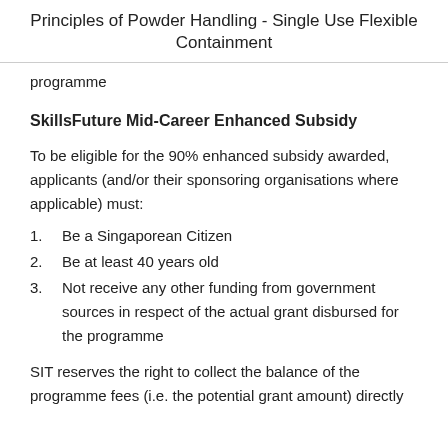Principles of Powder Handling - Single Use Flexible Containment
programme
SkillsFuture Mid-Career Enhanced Subsidy
To be eligible for the 90% enhanced subsidy awarded, applicants (and/or their sponsoring organisations where applicable) must:
Be a Singaporean Citizen
Be at least 40 years old
Not receive any other funding from government sources in respect of the actual grant disbursed for the programme
SIT reserves the right to collect the balance of the programme fees (i.e. the potential grant amount) directly